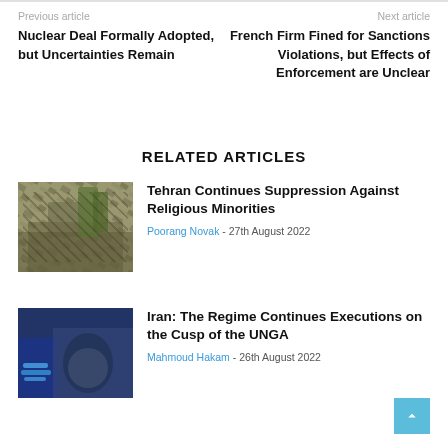Previous article
Next article
Nuclear Deal Formally Adopted, but Uncertainties Remain
French Firm Fined for Sanctions Violations, but Effects of Enforcement are Unclear
RELATED ARTICLES
[Figure (photo): Photo of building rubble and debris with trees]
Tehran Continues Suppression Against Religious Minorities
Poorang Novak - 27th August 2022
[Figure (photo): Photo of people with blue rope, protest scene]
Iran: The Regime Continues Executions on the Cusp of the UNGA
Mahmoud Hakam - 26th August 2022